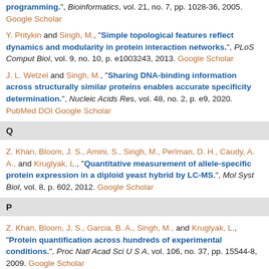programming.", Bioinformatics, vol. 21, no. 7, pp. 1028-36, 2005. Google Scholar
Y. Pritykin and Singh, M., "Simple topological features reflect dynamics and modularity in protein interaction networks.", PLoS Comput Biol, vol. 9, no. 10, p. e1003243, 2013. Google Scholar
J. L. Wetzel and Singh, M., "Sharing DNA-binding information across structurally similar proteins enables accurate specificity determination.", Nucleic Acids Res, vol. 48, no. 2, p. e9, 2020. PubMed DOI Google Scholar
Q
Z. Khan, Bloom, J. S., Amini, S., Singh, M., Perlman, D. H., Caudy, A. A., and Kruglyak, L., "Quantitative measurement of allele-specific protein expression in a diploid yeast hybrid by LC-MS.", Mol Syst Biol, vol. 8, p. 602, 2012. Google Scholar
P
Z. Khan, Bloom, J. S., Garcia, B. A., Singh, M., and Kruglyak, L., "Protein quantification across hundreds of experimental conditions.", Proc Natl Acad Sci U S A, vol. 106, no. 37, pp. 15544-8, 2009. Google Scholar
J. H. Fong, Keating, A. E., and Singh, M., "Predicting specificity in